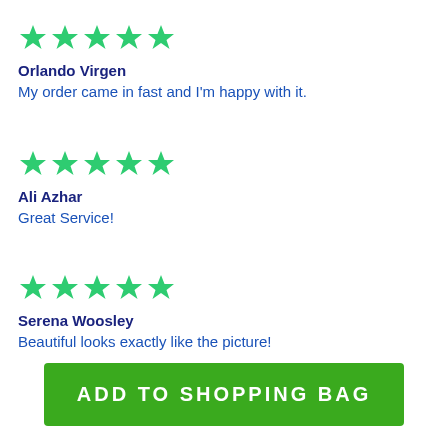[Figure (other): Five green stars rating]
Orlando Virgen
My order came in fast and I'm happy with it.
[Figure (other): Five green stars rating]
Ali Azhar
Great Service!
[Figure (other): Five green stars rating]
Serena Woosley
Beautiful looks exactly like the picture!
ADD TO SHOPPING BAG